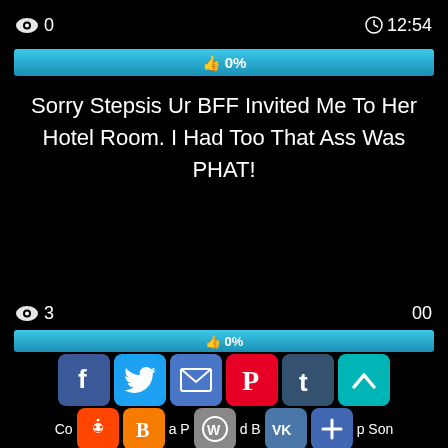👁 0    🕐 12:54
[Figure (screenshot): Blue progress bar showing 0% with thumbs up icon]
Sorry Stepsis Ur BFF Invited Me To Her Hotel Room. I Had Too That Ass Was PHAT!
[Figure (screenshot): Bottom UI overlay with view count 3, progress bar at 0%, social share icons: Facebook, Twitter, Email, Pinterest, Tumblr, scroll-up button, Reddit, Blogger, WordPress, VK, AddThis, and partial text 'Co...a P...d B...p Son']